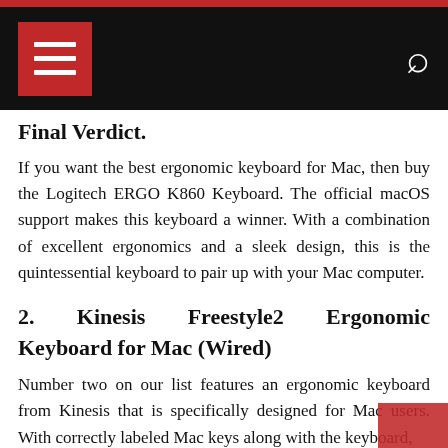Navigation header with menu and search icons
Final Verdict.
If you want the best ergonomic keyboard for Mac, then buy the Logitech ERGO K860 Keyboard. The official macOS support makes this keyboard a winner. With a combination of excellent ergonomics and a sleek design, this is the quintessential keyboard to pair up with your Mac computer.
2. Kinesis Freestyle2 Ergonomic Keyboard for Mac (Wired)
Number two on our list features an ergonomic keyboard from Kinesis that is specifically designed for Mac users. With correctly labeled Mac keys along with the keyboard,